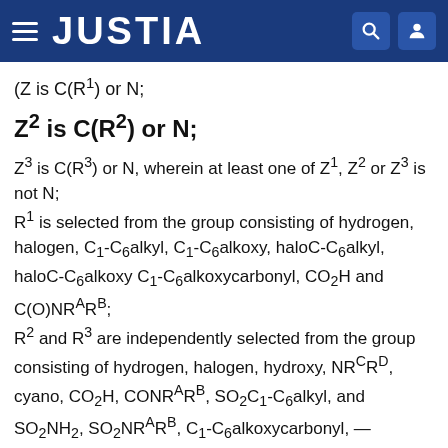JUSTIA
(Z is C(R¹) or N;
Z² is C(R²) or N;
Z³ is C(R³) or N, wherein at least one of Z¹, Z² or Z³ is not N; R¹ is selected from the group consisting of hydrogen, halogen, C₁-C₆alkyl, C₁-C₆alkoxy, haloC-C₆alkyl, haloC-C₆alkoxy C₁-C₆alkoxycarbonyl, CO₂H and C(O)NRᴬRᴮ; R² and R³ are independently selected from the group consisting of hydrogen, halogen, hydroxy, NRᶜRᴰ, cyano, CO₂H, CONRᴬRᴮ, SO₂C₁-C₆alkyl, and SO₂NH₂, SO₂NRᴬRᴮ, C₁-C₆alkoxycarbonyl, —C(NRᴬ)NRᶜRᴰ, C₁-C₆alkyl, haloC₁-C₆alkyl, C₂-C₆alkenyl, C₁-C₆alkoxy, haloC₁-C₆alkoxy, C₂-C₆alkenyloxy, wherein each alkyl, alkenyl, alkoxy and alkenyloxy is unsubstituted or substituted with up to 4 substitutents independently selected from halogen,